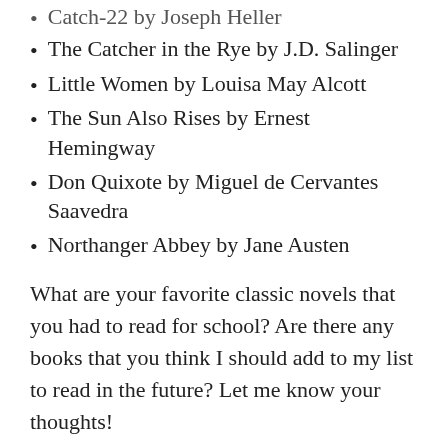Catch-22 by Joseph Heller (partial, cut off at top)
The Catcher in the Rye by J.D. Salinger
Little Women by Louisa May Alcott
The Sun Also Rises by Ernest Hemingway
Don Quixote by Miguel de Cervantes Saavedra
Northanger Abbey by Jane Austen
What are your favorite classic novels that you had to read for school? Are there any books that you think I should add to my list to read in the future? Let me know your thoughts!
Share this:
[Figure (illustration): Twitter bird icon — blue circle with white Twitter bird logo]
[Figure (illustration): Facebook icon — blue circle with white Facebook 'f' logo]
Loading...